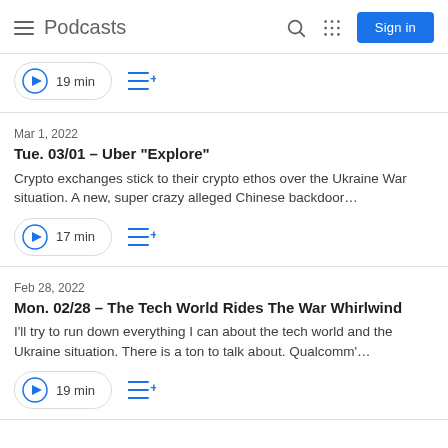Podcasts
19 min
Mar 1, 2022
Tue. 03/01 – Uber "Explore"
Crypto exchanges stick to their crypto ethos over the Ukraine War situation. A new, super crazy alleged Chinese backdoor…
17 min
Feb 28, 2022
Mon. 02/28 – The Tech World Rides The War Whirlwind
I'll try to run down everything I can about the tech world and the Ukraine situation. There is a ton to talk about. Qualcomm'…
19 min